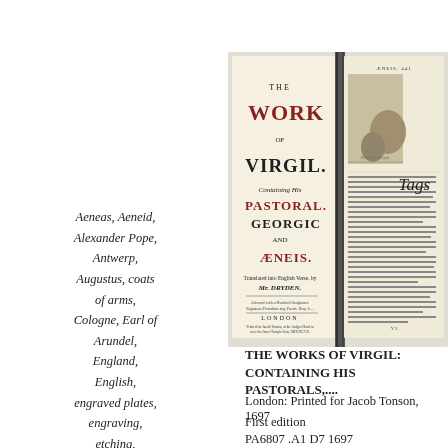[Figure (photo): Open book showing two pages: left page is the title page of 'The Works of Virgil' with text in red and black, right page shows an engraved illustration with columns of text beside it.]
Tags
Aeneas, Aeneid, Alexander Pope, Antwerp, Augustus, coats of arms, Cologne, Earl of Arundel, England, English, engraved plates, engraving, etching, Frankfurt, Great Fire of 1666, illustration, Jacob Tonson,
THE WORKS OF VIRGIL: CONTAINING HIS PASTORALS,....
London: Printed for Jacob Tonson, 1697
First edition
PA6807 .A1 D7 1697